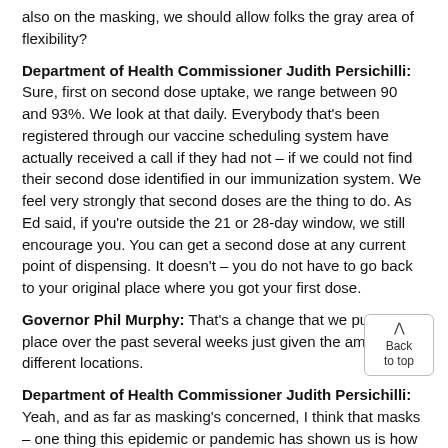also on the masking, we should allow folks the gray area of flexibility?
Department of Health Commissioner Judith Persichilli: Sure, first on second dose uptake, we range between 90 and 93%. We look at that daily. Everybody that's been registered through our vaccine scheduling system have actually received a call if they had not – if we could not find their second dose identified in our immunization system. We feel very strongly that second doses are the thing to do. As Ed said, if you're outside the 21 or 28-day window, we still encourage you. You can get a second dose at any current point of dispensing. It doesn't – you do not have to go back to your original place where you got your first dose.
Governor Phil Murphy: That's a change that we put in place over the past several weeks just given the amount of different locations.
Department of Health Commissioner Judith Persichilli: Yeah, and as far as masking's concerned, I think that masks – one thing this epidemic or pandemic has shown us is how effective masks can be. We have some of the lowest flu transmission than we've had in years. The only reason the logical explanation is so many people wearing masks, so leave that to the general public for their own deliberatio
Governor Phil Murphy: Yeah, I mean, the determination there...